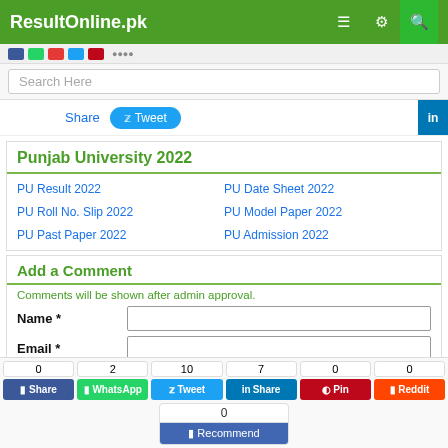ResultOnline.pk
Search Here
Share  Tweet
Punjab University 2022
PU Result 2022
PU Roll No. Slip 2022
PU Past Paper 2022
PU Date Sheet 2022
PU Model Paper 2022
PU Admission 2022
Add a Comment
Comments will be shown after admin approval.
Name *
Email *
Mobile *
Close x
0  2  10  7  0  0
Share  WhatsApp  Tweet  Share  Pin  Reddit
0  Recommend